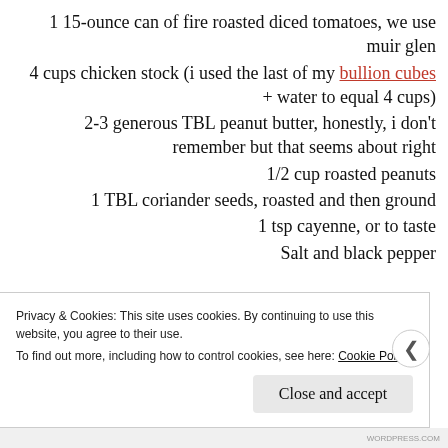1 15-ounce can of fire roasted diced tomatoes, we use muir glen
4 cups chicken stock (i used the last of my bullion cubes + water to equal 4 cups)
2-3 generous TBL peanut butter, honestly, i don't remember but that seems about right
1/2 cup roasted peanuts
1 TBL coriander seeds, roasted and then ground
1 tsp cayenne, or to taste
Salt and black pepper
Privacy & Cookies: This site uses cookies. By continuing to use this website, you agree to their use. To find out more, including how to control cookies, see here: Cookie Policy
Close and accept